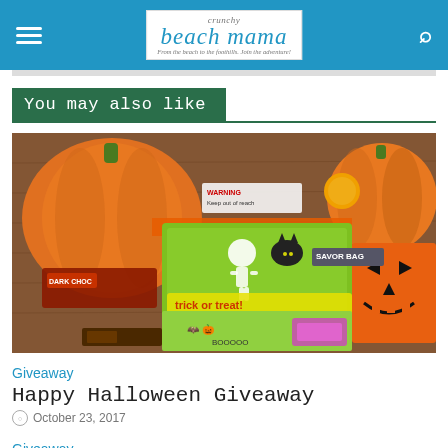Crunchy Beach Mama — From the beach to the foothills. Join the adventure!
You may also like
[Figure (photo): Halloween giveaway photo showing pumpkins, Halloween-themed treat bags with skeletons and bats, a dark chocolate bar, and a jack-o-lantern bag on a wooden surface.]
Giveaway
Happy Halloween Giveaway
October 23, 2017
Giveaway